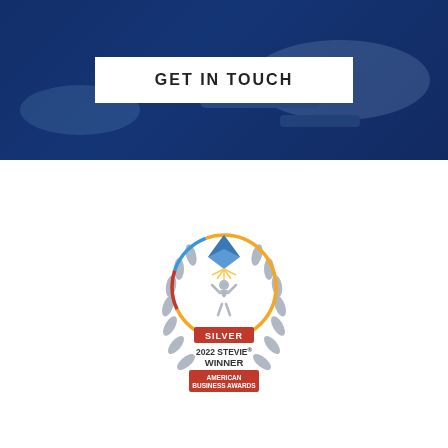[Figure (illustration): Dark blue hero banner with a 'GET IN TOUCH' button in a white rectangle, overlaid on a blurred photo of hands near a laptop and phone]
GET IN TOUCH
[Figure (logo): Silver 2022 Stevie Winner - American Business Awards badge/logo with laurel wreath, trophy figure, and circular multicolor ring]